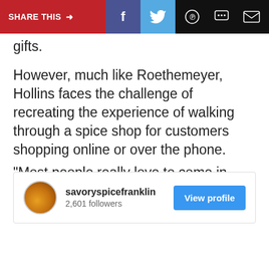[Figure (infographic): Share this bar with buttons for Facebook, Twitter, WhatsApp, messaging, and email on a dark/red/blue background]
gifts.
However, much like Roethemeyer, Hollins faces the challenge of recreating the experience of walking through a spice shop for customers shopping online or over the phone.
"Most people really love to come in here and smell and taste and walk around the store," Rollins said.
[Figure (infographic): Instagram profile embed card: savoryspicefranklin, 2,601 followers, View profile button]